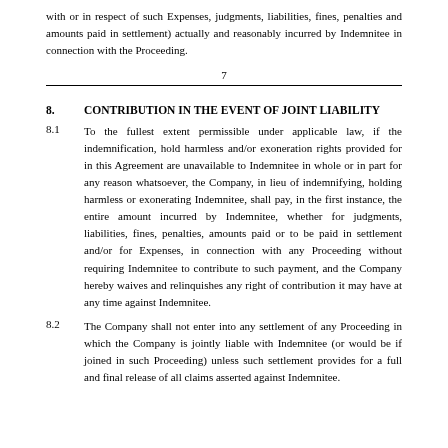with or in respect of such Expenses, judgments, liabilities, fines, penalties and amounts paid in settlement) actually and reasonably incurred by Indemnitee in connection with the Proceeding.
7
8.    CONTRIBUTION IN THE EVENT OF JOINT LIABILITY
8.1    To the fullest extent permissible under applicable law, if the indemnification, hold harmless and/or exoneration rights provided for in this Agreement are unavailable to Indemnitee in whole or in part for any reason whatsoever, the Company, in lieu of indemnifying, holding harmless or exonerating Indemnitee, shall pay, in the first instance, the entire amount incurred by Indemnitee, whether for judgments, liabilities, fines, penalties, amounts paid or to be paid in settlement and/or for Expenses, in connection with any Proceeding without requiring Indemnitee to contribute to such payment, and the Company hereby waives and relinquishes any right of contribution it may have at any time against Indemnitee.
8.2    The Company shall not enter into any settlement of any Proceeding in which the Company is jointly liable with Indemnitee (or would be if joined in such Proceeding) unless such settlement provides for a full and final release of all claims asserted against Indemnitee.